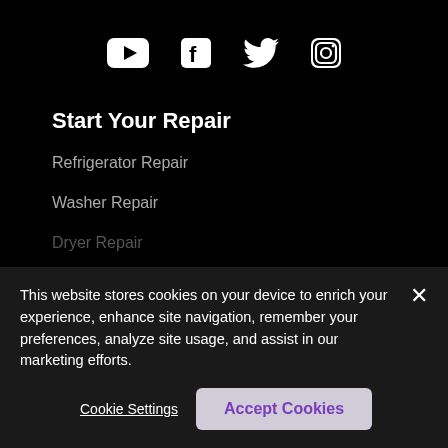[Figure (logo): Social media icons row: YouTube, Facebook, Twitter, Instagram in white on black background]
Start Your Repair
Refrigerator Repair
Washer Repair
Dryer Repair
Dishwasher Repair
Oven/Stove Repair
This website stores cookies on your device to enrich your experience, enhance site navigation, remember your preferences, analyze site usage, and assist in our marketing efforts.
Cookie Settings  Accept Cookies